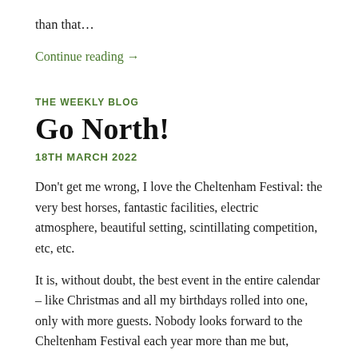than that…
Continue reading →
THE WEEKLY BLOG
Go North!
18TH MARCH 2022
Don't get me wrong, I love the Cheltenham Festival: the very best horses, fantastic facilities, electric atmosphere, beautiful setting, scintillating competition, etc, etc.
It is, without doubt, the best event in the entire calendar – like Christmas and all my birthdays rolled into one, only with more guests. Nobody looks forward to the Cheltenham Festival each year more than me but,